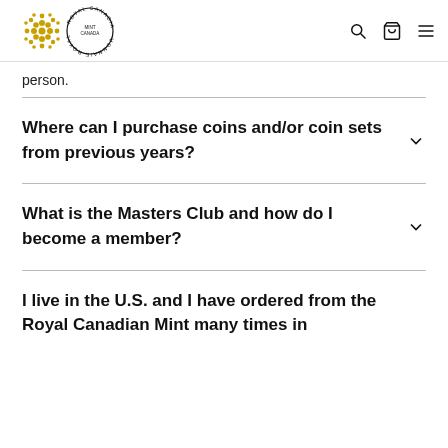Royal Canadian Mint
person.
Where can I purchase coins and/or coin sets from previous years?
What is the Masters Club and how do I become a member?
I live in the U.S. and I have ordered from the Royal Canadian Mint many times in